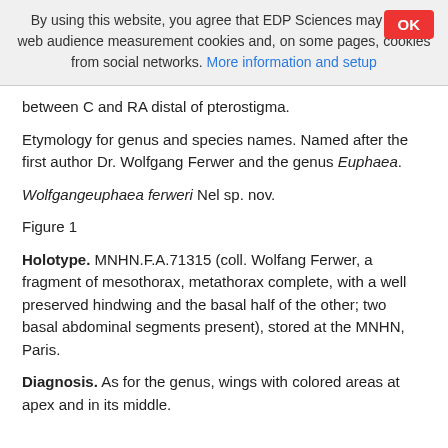By using this website, you agree that EDP Sciences may store web audience measurement cookies and, on some pages, cookies from social networks. More information and setup
between C and RA distal of pterostigma.
Etymology for genus and species names. Named after the first author Dr. Wolfgang Ferwer and the genus Euphaea.
Wolfgangeuphaea ferweri Nel sp. nov.
Figure 1
Holotype. MNHN.F.A.71315 (coll. Wolfang Ferwer, a fragment of mesothorax, metathorax complete, with a well preserved hindwing and the basal half of the other; two basal abdominal segments present), stored at the MNHN, Paris.
Diagnosis. As for the genus, wings with colored areas at apex and in its middle.